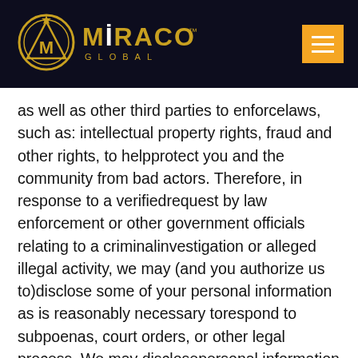MIRACO GLOBAL
as well as other third parties to enforcelaws, such as: intellectual property rights, fraud and other rights, to helpprotect you and the community from bad actors. Therefore, in response to a verifiedrequest by law enforcement or other government officials relating to a criminalinvestigation or alleged illegal activity, we may (and you authorize us to)disclose some of your personal information as is reasonably necessary torespond to subpoenas, court orders, or other legal process. We may disclosepersonal information to law enforcement offices, third party rights owners, orothers in the good faith belief that such disclosure is reasonably necessaryto: enforce our Terms or Privacy Policy; respond to claims that anadvertisement, posting or other content violates the rights of a third party;or protect the rights, property or personal safety of our users or the generalpublic.